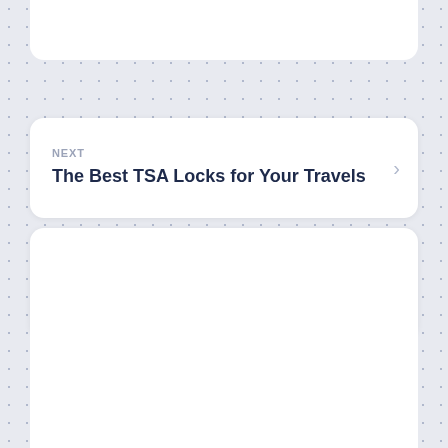NEXT
The Best TSA Locks for Your Travels
PREVIOUS
The Stages of Writing Development